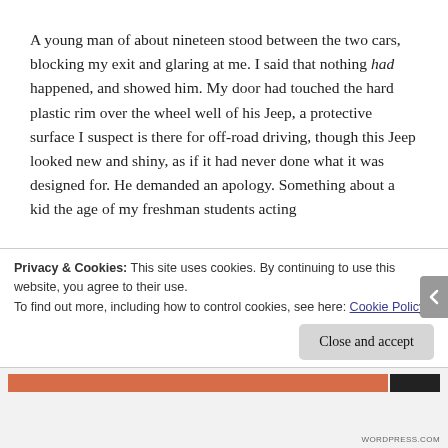A young man of about nineteen stood between the two cars, blocking my exit and glaring at me. I said that nothing had happened, and showed him. My door had touched the hard plastic rim over the wheel well of his Jeep, a protective surface I suspect is there for off-road driving, though this Jeep looked new and shiny, as if it had never done what it was designed for. He demanded an apology. Something about a kid the age of my freshman students acting like…
Privacy & Cookies: This site uses cookies. By continuing to use this website, you agree to their use.
To find out more, including how to control cookies, see here: Cookie Policy
Close and accept